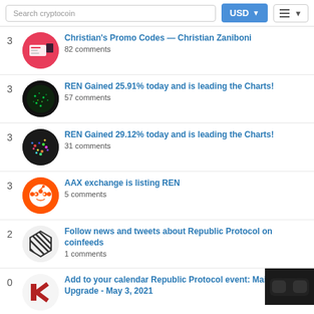Search cryptocoin | USD | menu
3 | Christian's Promo Codes — Christian Zaniboni | 82 comments
3 | REN Gained 25.91% today and is leading the Charts! | 57 comments
3 | REN Gained 29.12% today and is leading the Charts! | 31 comments
3 | AAX exchange is listing REN | 5 comments
2 | Follow news and tweets about Republic Protocol on coinfeeds | 1 comments
0 | Add to your calendar Republic Protocol event: Mainnet Upgrade - May 3, 2021
We use cookies for analytics, advertising and to improve our site. To find out more about our cookies, see our Privacy Policy. If you agree to our use of cookies, please continue to use our site or press the accept button. Learn more
Accept